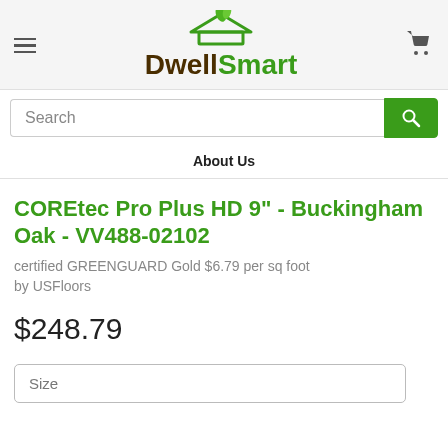[Figure (logo): DwellSmart logo with green house/leaf icon and brown/green text]
Search
About Us
COREtec Pro Plus HD 9" - Buckingham Oak - VV488-02102
certified GREENGUARD Gold $6.79 per sq foot
by USFloors
$248.79
Size